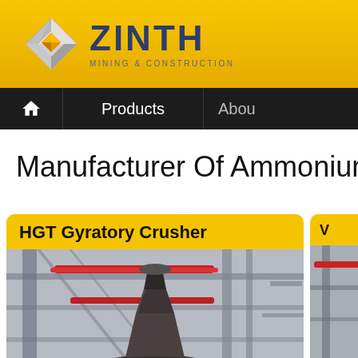[Figure (logo): ZINTH Mining & Construction company logo with diamond-shaped 3D icon and company name]
Products  About
Manufacturer Of Ammonium S
HGT Gyratory Crusher
[Figure (photo): Industrial gyratory crusher equipment in a factory/construction site setting, with red pipes visible]
[Figure (photo): Second product card partially visible on the right side]